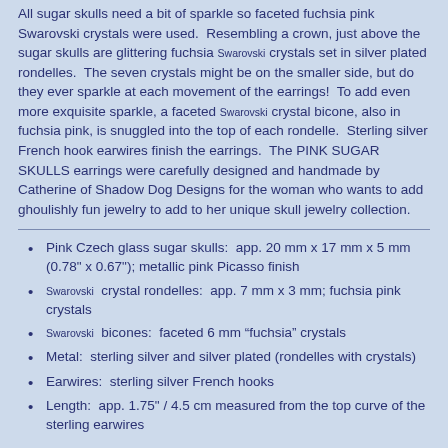All sugar skulls need a bit of sparkle so faceted fuchsia pink Swarovski crystals were used.  Resembling a crown, just above the sugar skulls are glittering fuchsia Swarovski crystals set in silver plated rondelles.  The seven crystals might be on the smaller side, but do they ever sparkle at each movement of the earrings!  To add even more exquisite sparkle, a faceted Swarovski crystal bicone, also in fuchsia pink, is snuggled into the top of each rondelle.  Sterling silver French hook earwires finish the earrings.  The PINK SUGAR SKULLS earrings were carefully designed and handmade by Catherine of Shadow Dog Designs for the woman who wants to add ghoulishly fun jewelry to add to her unique skull jewelry collection.
Pink Czech glass sugar skulls:  app. 20 mm x 17 mm x 5 mm (0.78" x 0.67"); metallic pink Picasso finish
Swarovski  crystal rondelles:  app. 7 mm x 3 mm; fuchsia pink crystals
Swarovski  bicones:  faceted 6 mm “fuchsia” crystals
Metal:  sterling silver and silver plated (rondelles with crystals)
Earwires:  sterling silver French hooks
Length:  app. 1.75" / 4.5 cm measured from the top curve of the sterling earwires